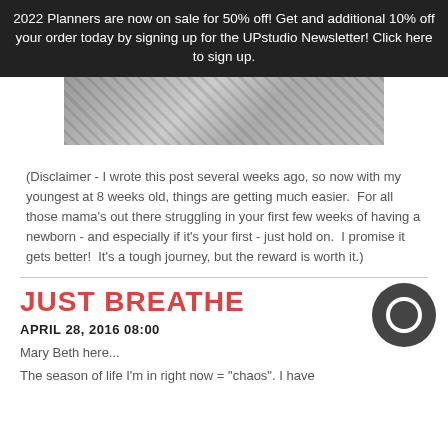2022 Planners are now on sale for 50% off! Get and additional 10% off your order today by signing up for the UPstudio Newsletter! Click here to sign up.
[Figure (photo): Grayscale photo of a pregnant woman, cropped showing torso area.]
(Disclaimer - I wrote this post several weeks ago, so now with my youngest at 8 weeks old, things are getting much easier.  For all those mama's out there struggling in your first few weeks of having a newborn - and especially if it's your first - just hold on.  I promise it gets better!  It's a tough journey, but the reward is worth it.)
JUST BREATHE
APRIL 28, 2016 08:00
Mary Beth here...
The season of life I'm in right now = "chaos". I have